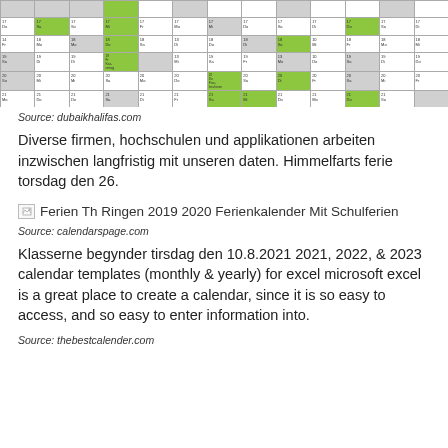[Figure (other): Partial view of a German school holiday calendar table with colored cells (green, gray, white) showing dates and day abbreviations]
Source: dubaikhalifas.com
Diverse firmen, hochschulen und applikationen arbeiten inzwischen langfristig mit unseren daten. Himmelfarts ferie torsdag den 26.
[Figure (other): Broken image placeholder: Ferien Th Ringen 2019 2020 Ferienkalender Mit Schulferien]
Source: calendarspage.com
Klasserne begynder tirsdag den 10.8.2021 2021, 2022, & 2023 calendar templates (monthly & yearly) for excel microsoft excel is a great place to create a calendar, since it is so easy to access, and so easy to enter information into.
Source: thebestcalender.com